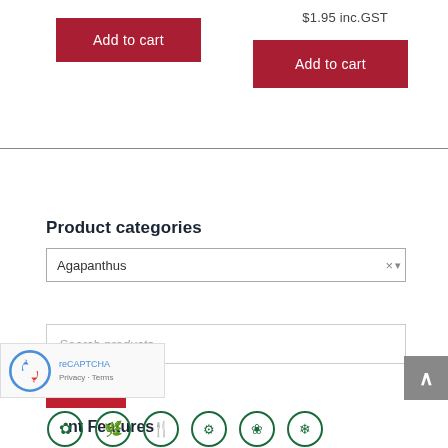Add to cart
$1.95 inc.GST
Add to cart
Product categories
Agapanthus
Search products...
Search
nt Features
[Figure (logo): reCAPTCHA logo with Privacy and Terms links]
[Figure (illustration): Row of circular plant feature icons in dark green]